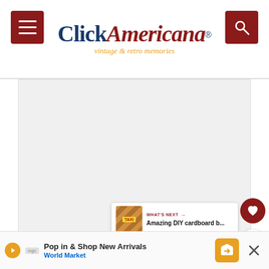Click Americana — vintage & retro memories
[Figure (screenshot): Main content area showing a mostly white/blank article image placeholder for a Click Americana vintage article page]
[Figure (infographic): Floating action buttons: heart (favorite) button in dark red and share button in white, plus What's Next panel showing taxi cardboard DIY article thumbnail]
What's Next → Amazing DIY cardboard b...
When it's falling, preventing the fire
[Figure (screenshot): Advertisement banner: Pop in & Shop New Arrivals — World Market, with road sign icon and close button]